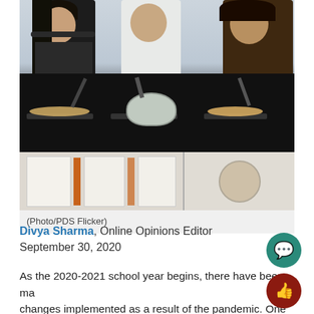[Figure (photo): Students cooking pancakes on griddles at a black counter, with display boards visible in the lower portion of the image. Three students are visible in aprons.]
(Photo/PDS Flicker)
Divya Sharma, Online Opinions Editor
September 30, 2020
As the 2020-2021 school year begins, there have been many changes implemented as a result of the pandemic. One of the big extracurricular activities within the Upper School is the start of clubs and events, which has prompted the question: how will such activities run as we try to stay safe